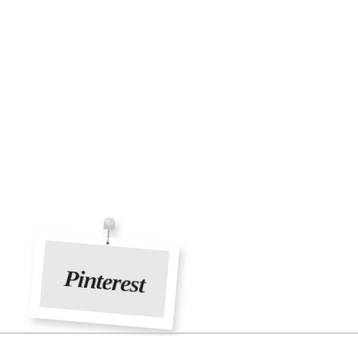[Figure (logo): Pinterest logo on a white card pinned with a metallic thumbtack/pushpin. The card is slightly tilted clockwise and has a drop shadow. The card shows the Pinterest wordmark in black script lettering on a light gray background, surrounded by a white border. A silver metallic pin is shown at the top center of the card.]